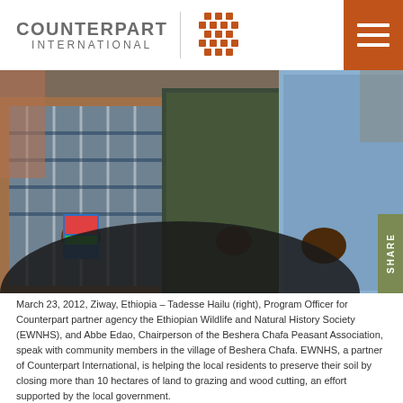[Figure (logo): Counterpart International logo with orange geometric/woven icon and gray wordmark text]
[Figure (photo): March 23, 2012, Ziway, Ethiopia - Group of people standing together; Tadesse Hailu and Abbe Edao among community members in village of Beshera Chafa]
March 23, 2012, Ziway, Ethiopia – Tadesse Hailu (right), Program Officer for Counterpart partner agency the Ethiopian Wildlife and Natural History Society (EWNHS), and Abbe Edao, Chairperson of the Beshera Chafa Peasant Association, speak with community members in the village of Beshera Chafa. EWNHS, a partner of Counterpart International, is helping the local residents to preserve their soil by closing more than 10 hectares of land to grazing and wood cutting, an effort supported by the local government.